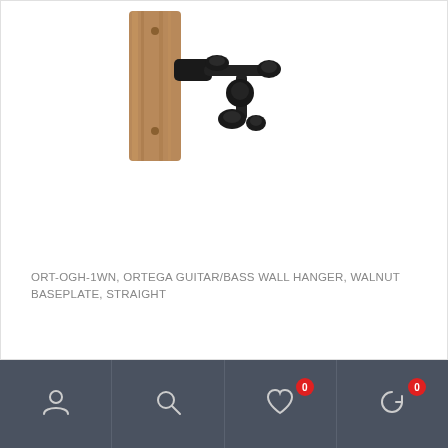[Figure (photo): A guitar/bass wall hanger with a black metal hook and walnut wood baseplate mounted on a wall, viewed from the side.]
ORT-OGH-1WN, ORTEGA GUITAR/BASS WALL HANGER, WALNUT BASEPLATE, STRAIGHT
[Figure (infographic): Bottom navigation bar with four icons: user/account icon, search icon, heart/wishlist icon with badge 0, and cart/history icon with badge 0.]